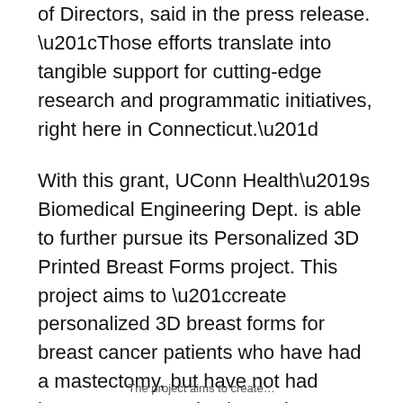of Directors, said in the press release. “Those efforts translate into tangible support for cutting-edge research and programmatic initiatives, right here in Connecticut.”
With this grant, UConn Health’s Biomedical Engineering Dept. is able to further pursue its Personalized 3D Printed Breast Forms project. This project aims to “create personalized 3D breast forms for breast cancer patients who have had a mastectomy, but have not had breast reconstruction,” according to the press release.
The project aims to create...